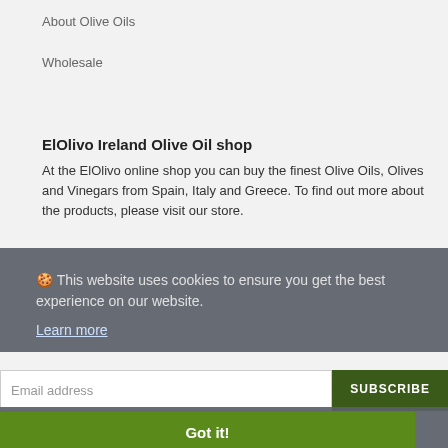About Olive Oils
Wholesale
ElOlivo Ireland Olive Oil shop
At the ElOlivo online shop you can buy the finest Olive Oils, Olives and Vinegars from Spain, Italy and Greece. To find out more about the products, please visit our store.
🍪 This website uses cookies to ensure you get the best experience on our website.
Learn more
Email address
SUBSCRIBE
Got it!
Contact Us